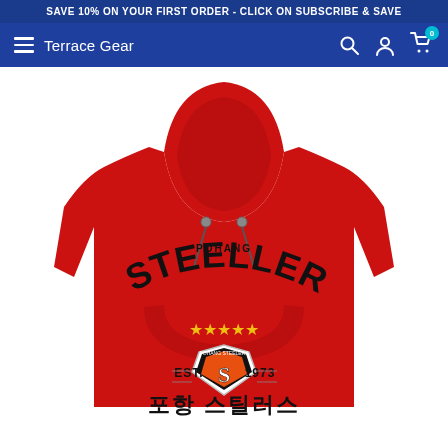SAVE 10% ON YOUR FIRST ORDER - CLICK ON SUBSCRIBE & SAVE
Terrace Gear
[Figure (photo): Red Pohang Steelers hoodie sweatshirt with arched STEELERS text, EST. 1973 shield logo, five gold stars, and Korean text (포항 스틸러스) printed on front, displayed on white background.]